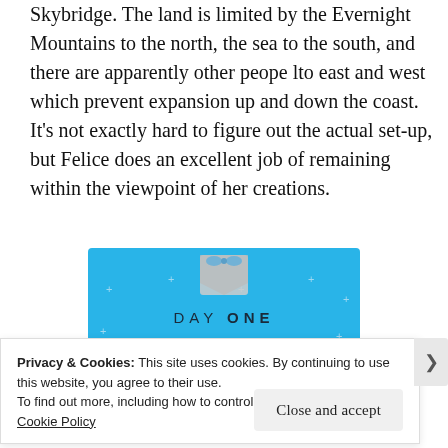Skybridge. The land is limited by the Evernight Mountains to the north, the sea to the south, and there are apparently other peope lto east and west which prevent expansion up and down the coast. It's not exactly hard to figure out the actual set-up, but Felice does an excellent job of remaining within the viewpoint of her creations.
[Figure (illustration): Advertisement for Day One journaling app on a blue background with decorative star/plus symbols, showing an icon at the top, the text 'DAY ONE' in large spaced letters, 'The only journaling app you'll ever need.' in italic, and a dark button below.]
Privacy & Cookies: This site uses cookies. By continuing to use this website, you agree to their use.
To find out more, including how to control cookies, see here:
Cookie Policy
Close and accept